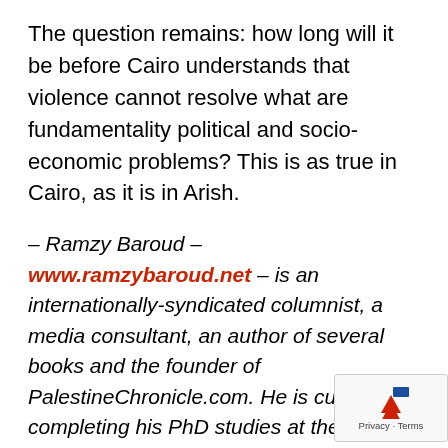The question remains: how long will it be before Cairo understands that violence cannot resolve what are fundamentality political and socio-economic problems? This is as true in Cairo, as it is in Arish.
– Ramzy Baroud – www.ramzybaroud.net – is an internationally-syndicated columnist, a media consultant, an author of several books and the founder of PalestineChronicle.com. He is currently completing his PhD studies at the University of Exeter. His latest book is My Father Was a Freedom Fighter: Gaza's Untold Sto… (Pluto Press, London).